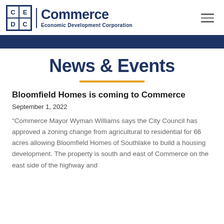Commerce Economic Development Corporation
News & Events
Bloomfield Homes is coming to Commerce
September 1, 2022
“Commerce Mayor Wyman Williams says the City Council has approved a zoning change from agricultural to residential for 66 acres allowing Bloomfield Homes of Southlake to build a housing development. The property is south and east of Commerce on the east side of the highway and